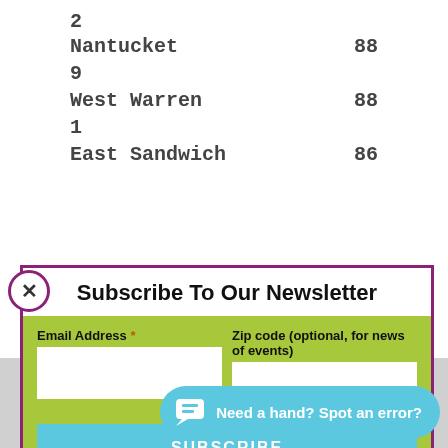| 2 |  |
| Nantucket | 88 |
| 9 |  |
| West Warren | 88 |
| 1 |  |
| East Sandwich | 86 |
[Figure (screenshot): Newsletter subscription modal with purple border, email address field, zip code field, and subscribe button on green background]
| East Boston |  |
| 33 |  |
| Sagamore |  |
Need a hand? Spot an error?